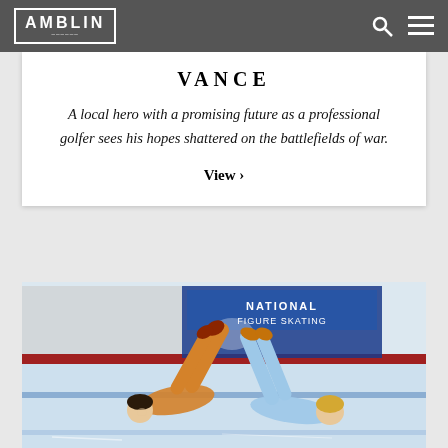AMBLIN
VANCE
A local hero with a promising future as a professional golfer sees his hopes shattered on the battlefields of war.
View >
[Figure (photo): Two figure skaters in colorful costumes lying on an ice rink, with legs raised, in front of a National Figure Skating Federation banner. One wears orange/gold, the other wears light blue.]